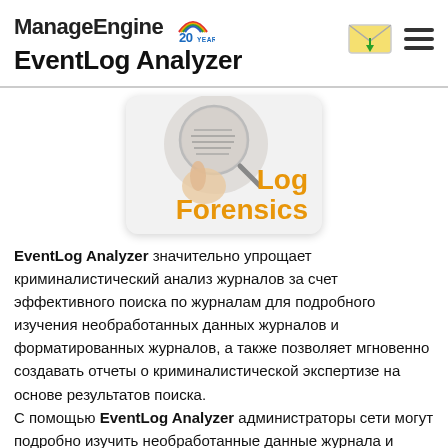ManageEngine 20 YEARS EventLog Analyzer
[Figure (illustration): Log Forensics card with magnifying glass image and orange bold text reading 'Log Forensics' on a light gray rounded card]
EventLog Analyzer значительно упрощает криминалистический анализ журналов за счет эффективного поиска по журналам для подробного изучения необработанных данных журналов и форматированных журналов, а также позволяет мгновенно создавать отчеты о криминалистической экспертизе на основе результатов поиска. С помощью EventLog Analyzer администраторы сети могут подробно изучить необработанные данные журнала и провести анализ основных причин для поиска той записи в